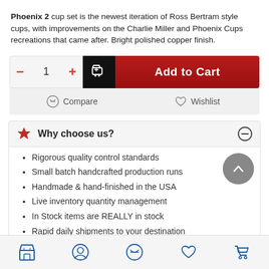Phoenix 2 cup set is the newest iteration of Ross Bertram style cups, with improvements on the Charlie Miller and Phoenix Cups recreations that came after. Bright polished copper finish.
[Figure (screenshot): Add to Cart UI with quantity selector (minus, 1, plus) and dark red Add to Cart button with cart icon]
[Figure (screenshot): Compare and Wishlist buttons row with icons]
Why choose us?
Rigorous quality control standards
Small batch handcrafted production runs
Handmade & hand-finished in the USA
Live inventory quantity management
In Stock items are REALLY in stock
Rapid daily shipments to your destination
Bottom navigation bar with store, account, compare, wishlist, cart icons